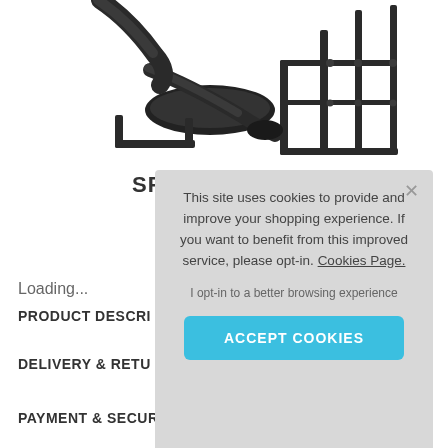[Figure (photo): Partial view of a Spirit Fitness back extension machine, black equipment on white background, cropped at the top]
SPIRIT FITNESS
Back Extension
Loading...
PRODUCT DESCRI
DELIVERY & RETU
This site uses cookies to provide and improve your shopping experience. If you want to benefit from this improved service, please opt-in. Cookies Page.
I opt-in to a better browsing experience
ACCEPT COOKIES
PAYMENT & SECURITY